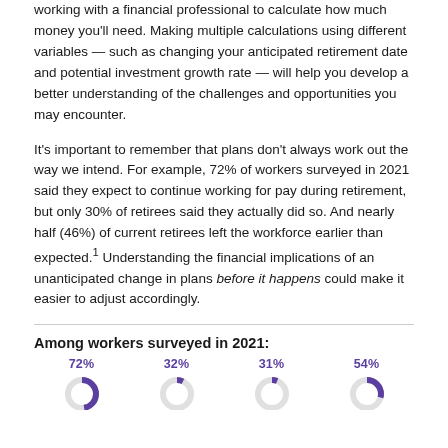working with a financial professional to calculate how much money you'll need. Making multiple calculations using different variables — such as changing your anticipated retirement date and potential investment growth rate — will help you develop a better understanding of the challenges and opportunities you may encounter.
It's important to remember that plans don't always work out the way we intend. For example, 72% of workers surveyed in 2021 said they expect to continue working for pay during retirement, but only 30% of retirees said they actually did so. And nearly half (46%) of current retirees left the workforce earlier than expected.¹ Understanding the financial implications of an unanticipated change in plans before it happens could make it easier to adjust accordingly.
Among workers surveyed in 2021:
[Figure (donut-chart): Among workers surveyed in 2021]